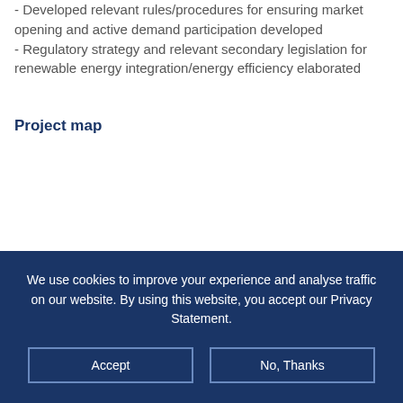- Developed relevant rules/procedures for ensuring market opening and active demand participation developed
- Regulatory strategy and relevant secondary legislation for renewable energy integration/energy efficiency elaborated
Project map
We use cookies to improve your experience and analyse traffic on our website. By using this website, you accept our Privacy Statement.
Accept   No, Thanks